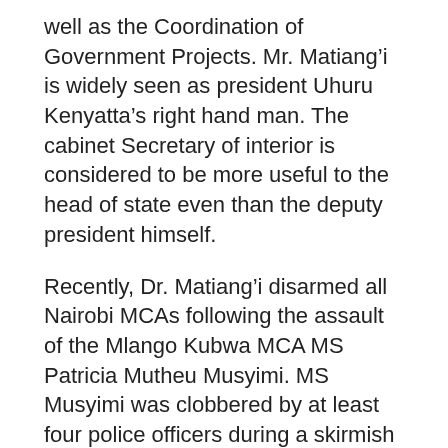well as the Coordination of Government Projects. Mr. Matiang'i is widely seen as president Uhuru Kenyatta's right hand man. The cabinet Secretary of interior is considered to be more useful to the head of state even than the deputy president himself.
Recently, Dr. Matiang'i disarmed all Nairobi MCAs following the assault of the Mlango Kubwa MCA MS Patricia Mutheu Musyimi. MS Musyimi was clobbered by at least four police officers during a skirmish involving a battle between Nairobi Governor Mbuvi Sonko supporters and Nairobi County Speaker Beatrice Elachi's. The conflict was about a need to impeach Ms Elachi from his job due to poor performance. Regarding this case, Matiang'i swore to prosecute the rogue police officers and teamed with Nairobi Metropolitan Service Boss Mohammed Badi in calling for a construction of a police station at the city hall.